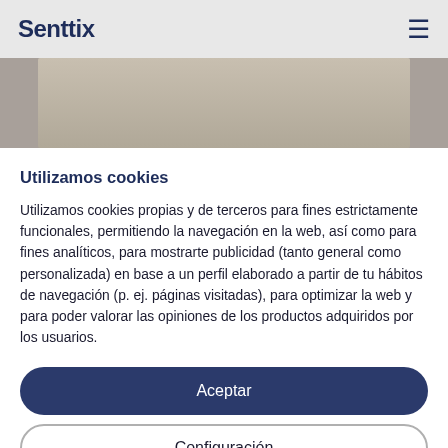Senttix
[Figure (photo): Partial product photo visible behind cookie consent modal, showing clothing items in gray/beige tones]
Utilizamos cookies
Utilizamos cookies propias y de terceros para fines estrictamente funcionales, permitiendo la navegación en la web, así como para fines analíticos, para mostrarte publicidad (tanto general como personalizada) en base a un perfil elaborado a partir de tu hábitos de navegación (p. ej. páginas visitadas), para optimizar la web y para poder valorar las opiniones de los productos adquiridos por los usuarios.
Aceptar
Configuración
Natural Multispring
Micro pocket sewn with cotton